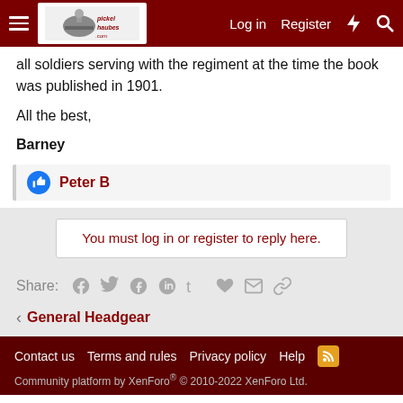pickelhaubes.com — Log in | Register
all soldiers serving with the regiment at the time the book was published in 1901.
All the best,
Barney
Peter B (liked this)
You must log in or register to reply here.
Share:
< General Headgear
Contact us  Terms and rules  Privacy policy  Help
Community platform by XenForo® © 2010-2022 XenForo Ltd.